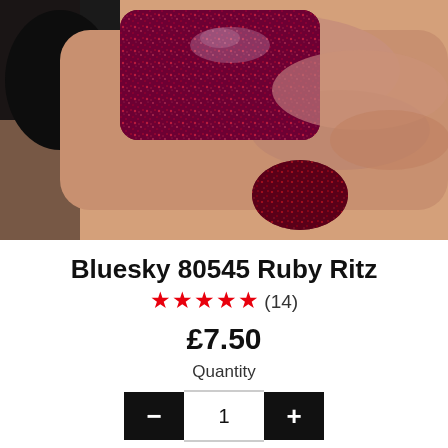[Figure (photo): Close-up photo of a hand holding a dark nail polish bottle, with nails painted in deep ruby/dark red glitter gel nail polish (Bluesky 80545 Ruby Ritz). The nails show sparkly red and purple shimmer.]
Bluesky 80545 Ruby Ritz
★★★★★ (14)
£7.50
Quantity
− 1 +